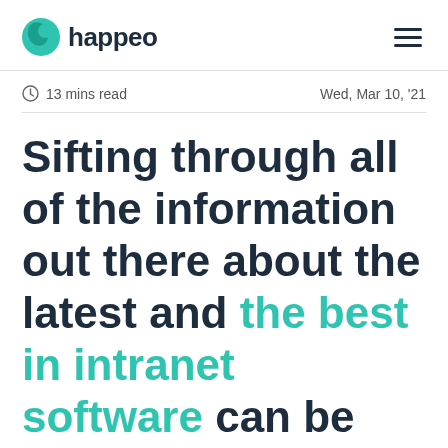happeo
13 mins read   Wed, Mar 10, '21
Sifting through all of the information out there about the latest and the best in intranet software can be overwhelming.